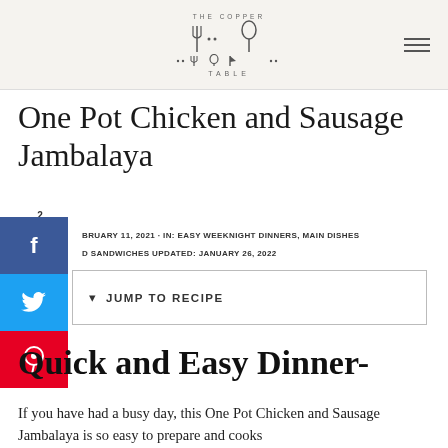[Figure (logo): The Copper Table logo with utensils and text]
One Pot Chicken and Sausage Jambalaya
2 SHARES
FEBRUARY 11, 2021 · IN: EASY WEEKNIGHT DINNERS, MAIN DISHES AND SANDWICHES UPDATED: JANUARY 26, 2022
▾  JUMP TO RECIPE
Quick and Easy Dinner-
If you have had a busy day, this One Pot Chicken and Sausage Jambalaya is so easy to prepare and cooks